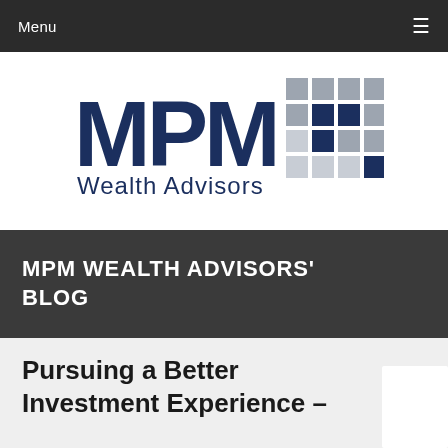Menu  ≡
[Figure (logo): MPM Wealth Advisors logo with large navy MPM letters and a grid of navy and gray squares to the right]
MPM WEALTH ADVISORS' BLOG
Pursuing a Better Investment Experience –